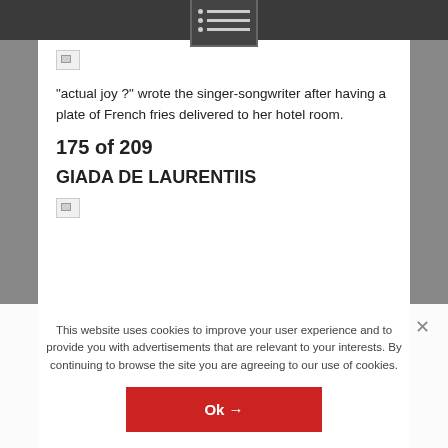[Figure (screenshot): Dark top navigation bar with a menu icon (dots and lines list icon) centered inside a bordered box]
[Figure (illustration): Broken image placeholder icon]
“actual joy ?” wrote the singer-songwriter after having a plate of French fries delivered to her hotel room.
175 of 209
GIADA DE LAURENTIIS
[Figure (illustration): Broken image placeholder icon]
This website uses cookies to improve your user experience and to provide you with advertisements that are relevant to your interests. By continuing to browse the site you are agreeing to our use of cookies.